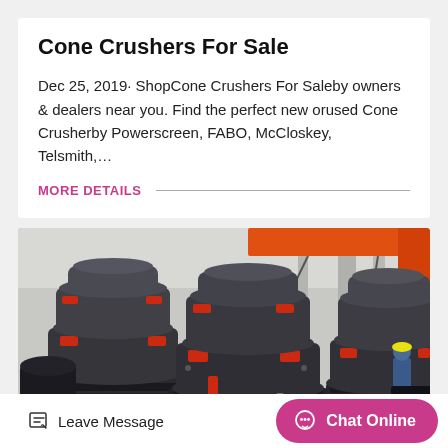Cone Crushers For Sale
Dec 25, 2019· ShopCone Crushers For Saleby owners & dealers near you. Find the perfect new orused Cone Crusherby Powerscreen, FABO, McCloskey, Telsmith,…
MORE DETAILS
[Figure (photo): Industrial cone crushers in a factory/warehouse setting. Multiple large dark-grey cone crusher machines are visible with red accent hardware, suspended from an orange crane structure overhead. A worker in a blue hard hat is visible in the background.]
Leave Message
Chat Online